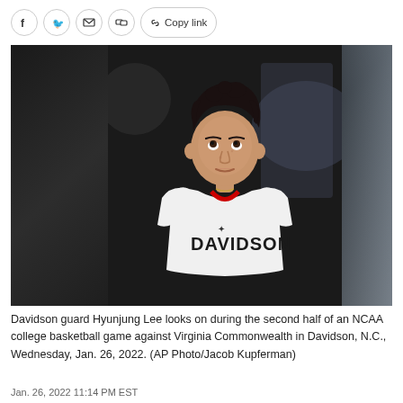Copy link
[Figure (photo): Davidson guard Hyunjung Lee in a white Davidson basketball jersey, looking upward during a game, with a blurred arena background.]
Davidson guard Hyunjung Lee looks on during the second half of an NCAA college basketball game against Virginia Commonwealth in Davidson, N.C., Wednesday, Jan. 26, 2022. (AP Photo/Jacob Kupferman)
Jan. 26, 2022 11:14 PM EST